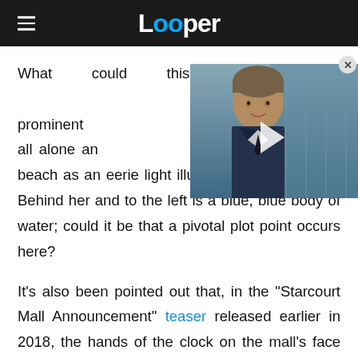Looper
[Figure (screenshot): Video thumbnail showing an animated character in a suit, with a play button overlay]
What could this be referring to possibilities. One prominent features Eleven, all alone and standing on the beach as an eerie light illuminates the night sky. Behind her and to the left is a blue, blue body of water; could it be that a pivotal plot point occurs here?
It's also been pointed out that, in the "Starcourt Mall Announcement" teaser released earlier in 2018, the hands of the clock on the mall's face also happen to